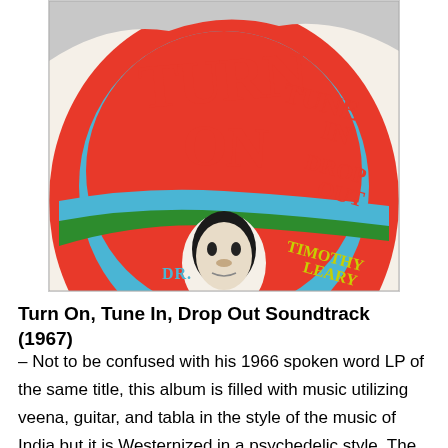[Figure (illustration): Psychedelic 1967 album cover art for 'Turn On, Tune In, Drop Out' featuring bold red and blue lettering in a curved style, a man's face in black and white at the bottom center, and text reading 'DR. TIMOTHY LEARY' in a swirling psychedelic design with green accents.]
Turn On, Tune In, Drop Out Soundtrack (1967)
– Not to be confused with his 1966 spoken word LP of the same title, this album is filled with music utilizing veena, guitar, and tabla in the style of the music of India but it is Westernized in a psychedelic style. The movie never received a